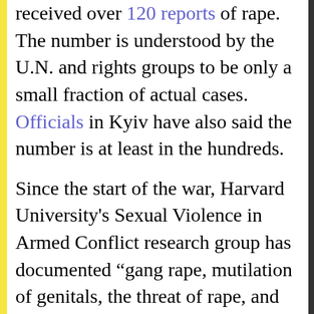received over 120 reports of rape. The number is understood by the U.N. and rights groups to be only a small fraction of actual cases. Officials in Kyiv have also said the number is at least in the hundreds.
Since the start of the war, Harvard University's Sexual Violence in Armed Conflict research group has documented “gang rape, mutilation of genitals, the threat of rape, and people forced to watch their friends and relatives raped by others,” says Ukrainian academic and member Marta Havryshko, who is also a URIS Fellow at the University of Basel in